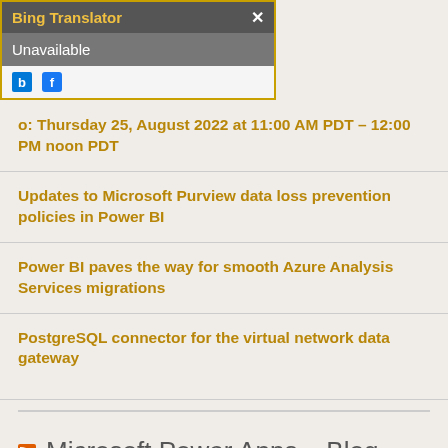[Figure (screenshot): Bing Translator browser popup overlay showing title bar with 'Bing Translator' text and close X button, 'Unavailable' status in gray bar, and icons row with Bing and Facebook icons.]
o: Thursday 25, August 2022 at 11:00 AM PDT – 12:00 PM noon PDT
Updates to Microsoft Purview data loss prevention policies in Power BI
Power BI paves the way for smooth Azure Analysis Services migrations
PostgreSQL connector for the virtual network data gateway
Microsoft Power Apps – Blog
Announcing Public Preview of IP based cookie binding